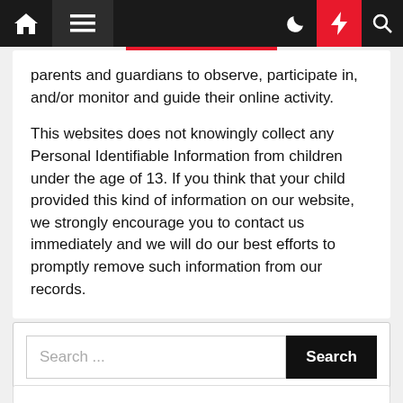Navigation bar with home, menu, moon, lightning, and search icons
parents and guardians to observe, participate in, and/or monitor and guide their online activity.
This websites does not knowingly collect any Personal Identifiable Information from children under the age of 13. If you think that your child provided this kind of information on our website, we strongly encourage you to contact us immediately and we will do our best efforts to promptly remove such information from our records.
Search ...